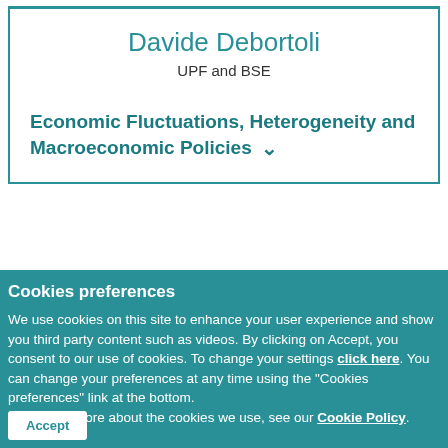Davide Debortoli
UPF and BSE
Economic Fluctuations, Heterogeneity and Macroeconomic Policies
Cookies preferences
We use cookies on this site to enhance your user experience and show you third party content such as videos. By clicking on Accept, you consent to our use of cookies. To change your settings click here. You can change your preferences at any time using the "Cookies preferences" link at the bottom. To find out more about the cookies we use, see our Cookie Policy.